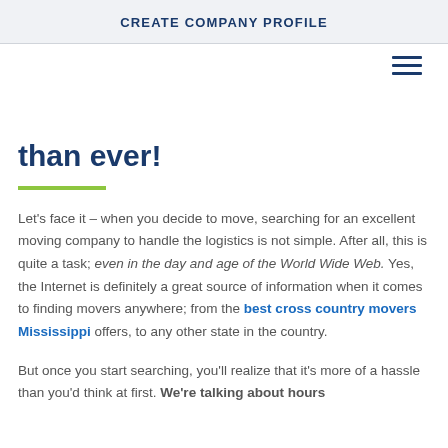CREATE COMPANY PROFILE
than ever!
Let's face it – when you decide to move, searching for an excellent moving company to handle the logistics is not simple. After all, this is quite a task; even in the day and age of the World Wide Web. Yes, the Internet is definitely a great source of information when it comes to finding movers anywhere; from the best cross country movers Mississippi offers, to any other state in the country.
But once you start searching, you'll realize that it's more of a hassle than you'd think at first. We're talking about hours